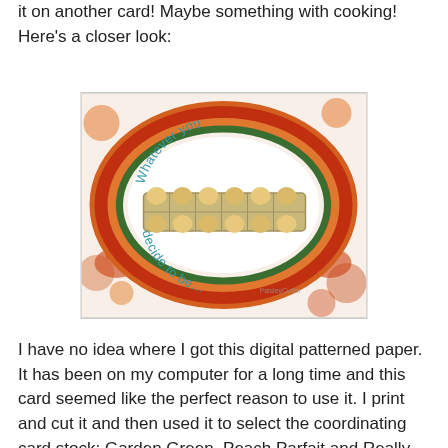it on another card!  Maybe something with cooking!  Here's a closer look:
[Figure (photo): A greeting card featuring a decorative oval frame with orange and green layered circles on a chicken-patterned paper background. Inside the oval, text reads 'Whatever you decide to be...' in teal letters. A wooden laser-cut egg carton with eggs sits in the center of the oval.]
I have no idea where I got this digital patterned paper.  It has been on my computer for a long time and this card seemed like the perfect reason to use it.  I print and cut it and then used it to select the coordinating card stock; Garden Green, Peach Parfait and Really Rust with Whisper White for printed